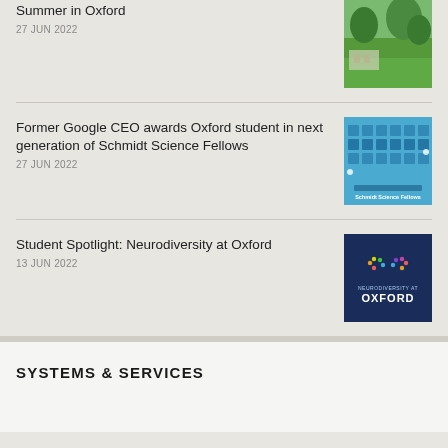Summer in Oxford
27 JUN 2022
[Figure (photo): Outdoor summer photo showing green trees and a building at Oxford]
Former Google CEO awards Oxford student in next generation of Schmidt Science Fellows
27 JUN 2022
[Figure (photo): Blue graphic showing group photo with text 'Congratulations to the 2022 Schmidt Science Fellows']
Student Spotlight: Neurodiversity at Oxford
13 JUN 2022
[Figure (logo): Dark navy logo for Neurodiversity at Oxford with infinity symbol made of coloured dots]
SYSTEMS & SERVICES